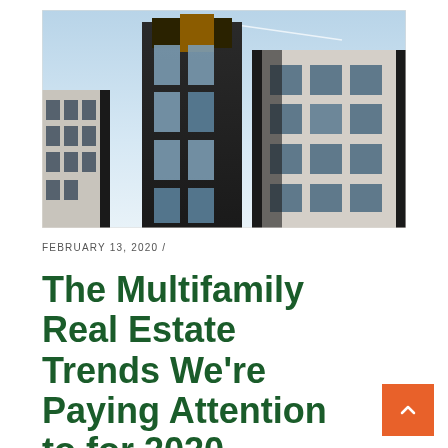[Figure (photo): Upward-angle photograph of a modern multifamily apartment building with dark and light facade panels, large windows, and a blue sky background.]
FEBRUARY 13, 2020 /
The Multifamily Real Estate Trends We're Paying Attention to for 2020